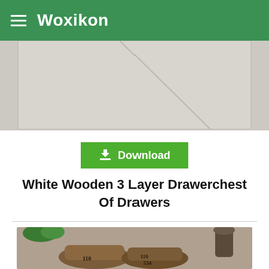Woxikon
[Figure (photo): Partial view of a white wooden surface or furniture item, light gray background]
[Figure (other): Green download button with download icon and text 'Download']
White Wooden 3 Layer Drawerchest Of Drawers
[Figure (photo): Vintage shoe lasts/forms made of wood displayed on a table with plants and decorative items in the background]